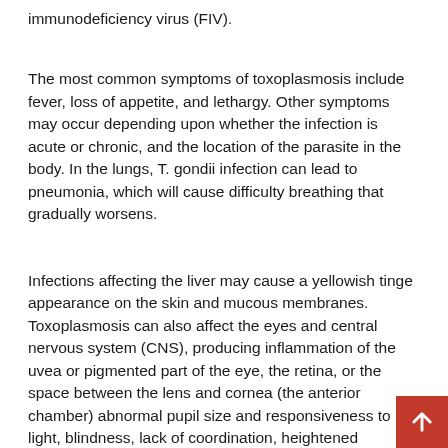immunodeficiency virus (FIV).
The most common symptoms of toxoplasmosis include fever, loss of appetite, and lethargy. Other symptoms may occur depending upon whether the infection is acute or chronic, and the location of the parasite in the body. In the lungs, T. gondii infection can lead to pneumonia, which will cause difficulty breathing that gradually worsens.
Infections affecting the liver may cause a yellowish tinge appearance on the skin and mucous membranes. Toxoplasmosis can also affect the eyes and central nervous system (CNS), producing inflammation of the uvea or pigmented part of the eye, the retina, or the space between the lens and cornea (the anterior chamber) abnormal pupil size and responsiveness to light, blindness, lack of coordination, heightened sensitivity to